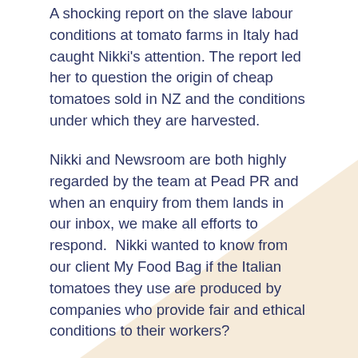A shocking report on the slave labour conditions at tomato farms in Italy had caught Nikki's attention. The report led her to question the origin of cheap tomatoes sold in NZ and the conditions under which they are harvested.
Nikki and Newsroom are both highly regarded by the team at Pead PR and when an enquiry from them lands in our inbox, we make all efforts to respond.  Nikki wanted to know from our client My Food Bag if the Italian tomatoes they use are produced by companies who provide fair and ethical conditions to their workers?
Wheels were put in motion.  Many hours invested in contacting the tomato growers in Italy, who were called in from the crops to respond to Nikki's questions.
My Food Bag has been a client of ours since before it launched and we know this company very well.  The great values laid down by the founders are cemented in